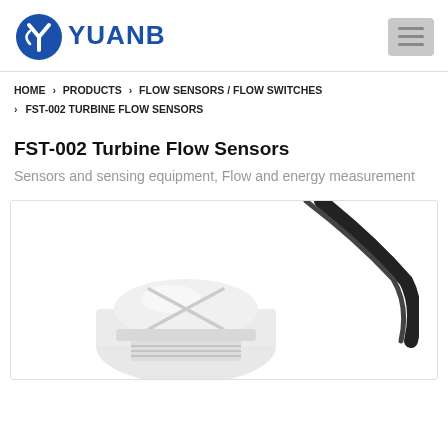YUANBEN (logo)
HOME > PRODUCTS > FLOW SENSORS / FLOW SWITCHES > FST-002 TURBINE FLOW SENSORS
FST-002 Turbine Flow Sensors
Sensors and sensing equipment, Flow and energy measurement
[Figure (photo): FST-002 Turbine Flow Sensor — white plastic sensor body with cap and black cable visible]